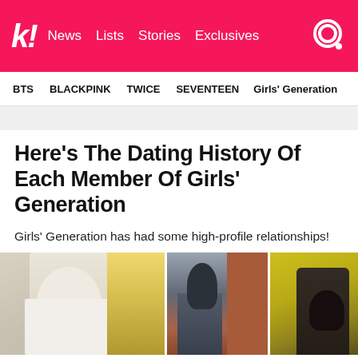k! News Lists Stories Exclusives
BTS   BLACKPINK   TWICE   SEVENTEEN   Girls' Generation
Here's The Dating History Of Each Member Of Girls' Generation
Girls' Generation has had some high-profile relationships!
[Figure (photo): Three-panel photo collage showing people in outdoor settings]